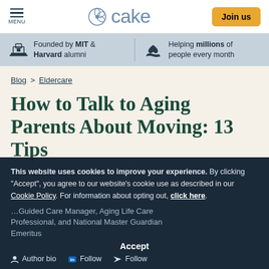MENU | cake | Join us
Founded by MIT & Harvard alumni | Helping millions of people every month
Blog > Eldercare
How to Talk to Aging Parents About Moving: 13 Tips
Updated 5/6/2022
This website uses cookies to improve your experience. By clicking "Accept", you agree to our website's cookie use as described in our Cookie Policy. For information about opting out, click here.
Author bio | Follow | Follow